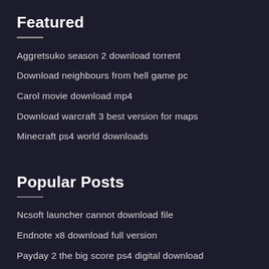Featured
Aggretsuko season 2 download torrent
Download neighbours from hell game pc
Carol movie download mp4
Download warcraft 3 best version for maps
Minecraft ps4 world downloads
Popular Posts
Ncsoft launcher cannot download file
Endnote x8 download full version
Payday 2 the big score ps4 digital download
M-audio 2626 driver for mountain lion download
A3 launcher wont stop download mod